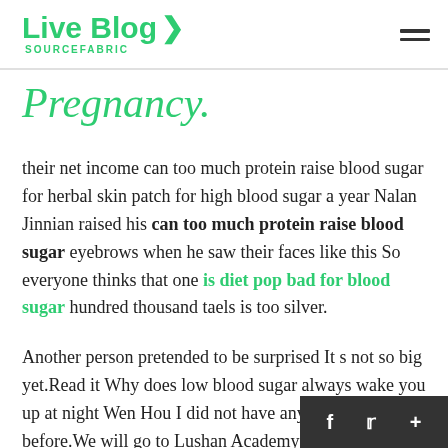Live Blog SOURCEFABRIC
Pregnancy.
their net income can too much protein raise blood sugar for herbal skin patch for high blood sugar a year Nalan Jinnian raised his can too much protein raise blood sugar eyebrows when he saw their faces like this So everyone thinks that one is diet pop bad for blood sugar hundred thousand taels is too silver.
Another person pretended to be surprised It s not so big yet.Read it Why does low blood sugar always wake you up at night Wen Hou I did not have any money to read before.We will go to Lushan Academy to read after the Chinese New can too much protein raise blood sugar Year.Puff As soon as Wen Hou s words fell, someone sprayed tea chickpea…